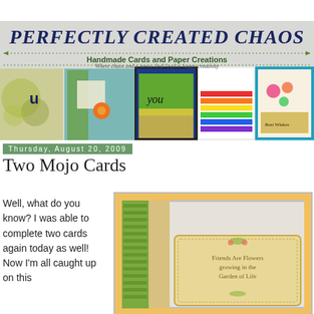[Figure (illustration): Blog header banner for 'Perfectly Created Chaos' showing handmade cards, title text, subtitle 'Handmade Cards and Paper Creations', and tagline 'Where chaos and a messy desk lead to happy creativity']
Thursday, August 20, 2009
Two Mojo Cards
Well, what do you know? I was able to complete two cards again today as well! Now I'm all caught up on this
[Figure (photo): Photo of a handmade greeting card with yellow/gold glitter border, lavender polka dot background, green patterned strip, and a label stamp reading 'Friends are Flowers growing in the Garden of Life']